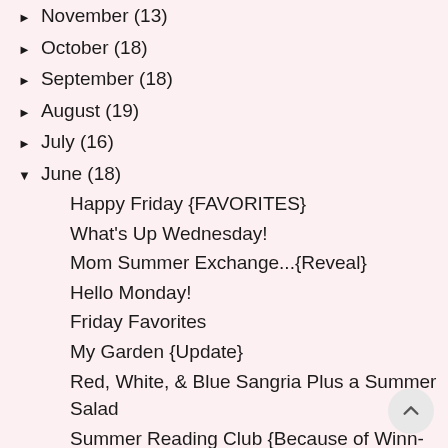► November (13)
► October (18)
► September (18)
► August (19)
► July (16)
▼ June (18)
Happy Friday {FAVORITES}
What's Up Wednesday!
Mom Summer Exchange...{Reveal}
Hello Monday!
Friday Favorites
My Garden {Update}
Red, White, & Blue Sangria Plus a Summer Salad
Summer Reading Club {Because of Winn-Dixie}
Hello Monday
Friday Favorites!
Summer Bucket List